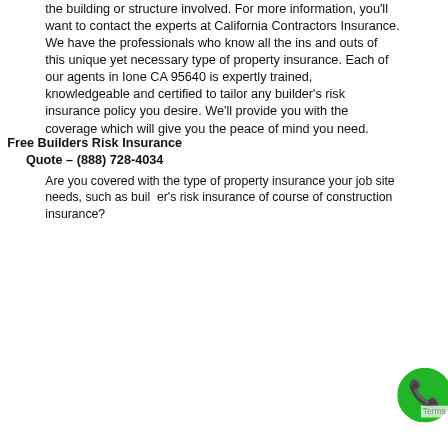the building or structure involved. For more information, you'll want to contact the experts at California Contractors Insurance. We have the professionals who know all the ins and outs of this unique yet necessary type of property insurance. Each of our agents in Ione CA 95640 is expertly trained, knowledgeable and certified to tailor any builder's risk insurance policy you desire. We'll provide you with the coverage which will give you the peace of mind you need.
Free Builders Risk Insurance Quote – (888) 728-4034
Are you covered with the type of property insurance your job site needs, such as builder's risk insurance of course of construction insurance? And so I'd like to provide you with the